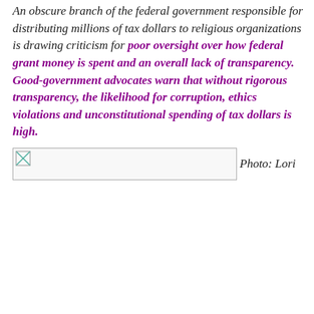An obscure branch of the federal government responsible for distributing millions of tax dollars to religious organizations is drawing criticism for poor oversight over how federal grant money is spent and an overall lack of transparency. Good-government advocates warn that without rigorous transparency, the likelihood for corruption, ethics violations and unconstitutional spending of tax dollars is high.
[Figure (photo): A partially loaded or broken image placeholder with photo credit 'Photo: Lori']